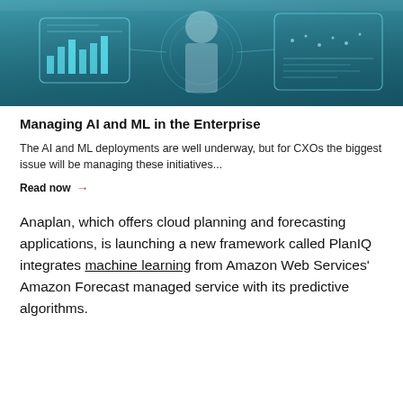[Figure (photo): A person in front of digital screens displaying charts, graphs and a world map with a teal/blue data visualization overlay.]
Managing AI and ML in the Enterprise
The AI and ML deployments are well underway, but for CXOs the biggest issue will be managing these initiatives...
Read now →
Anaplan, which offers cloud planning and forecasting applications, is launching a new framework called PlanIQ integrates machine learning from Amazon Web Services' Amazon Forecast managed service with its predictive algorithms.